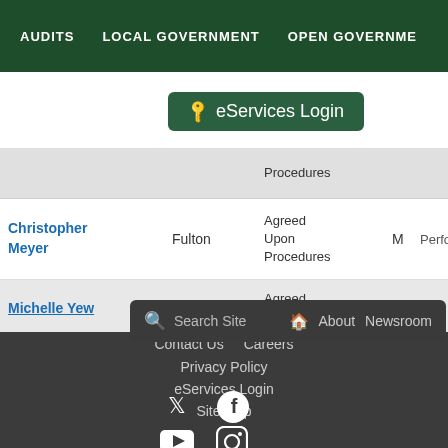AUDITS   LOCAL GOVERNMENT   OPEN GOVERNMENT
[Figure (screenshot): eServices Login button with key icon, green background, white border]
| Name | County | Type | M | Performance |
| --- | --- | --- | --- | --- |
|  |  | Procedures |  |  |
| Christopher Meyer | Fulton | Agreed Upon Procedures | M | Performa... |
| Michelle Yew | Franklin | Agreed Upon... | M |  |
[Figure (screenshot): Search bar overlay with search icon, Search Site text, home icon, About, Newsroom links]
Contact Us   Careers
Privacy Policy
eServices Login
Site Map
[Figure (other): Social media icons: Twitter, Facebook, YouTube, Instagram]